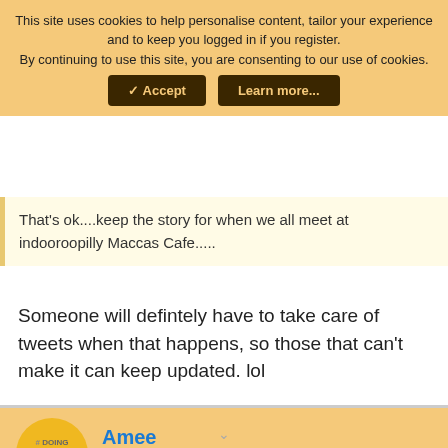This site uses cookies to help personalise content, tailor your experience and to keep you logged in if you register.
By continuing to use this site, you are consenting to our use of cookies.
That's ok....keep the story for when we all meet at indooroopilly Maccas Cafe.....
Someone will defintely have to take care of tweets when that happens, so those that can't make it can keep updated. lol
Amee
Active Member
Jul 2, 2014
#803